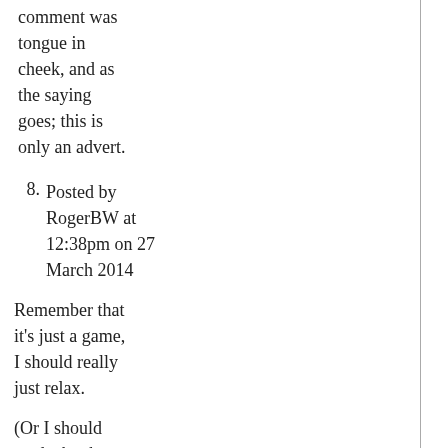comment was tongue in cheek, and as the saying goes; this is only an advert.
8. Posted by RogerBW at 12:38pm on 27 March 2014
Remember that it's just a game, I should really just relax.
(Or I should read a book John has lent me about RN warship design.)
Comments on this